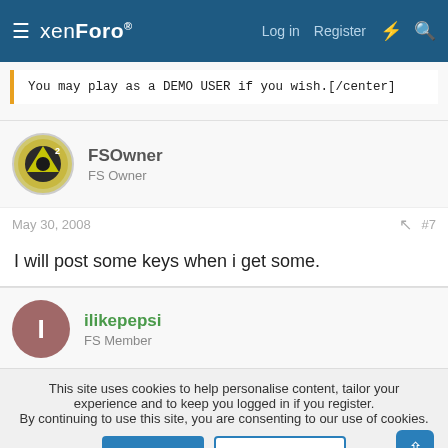xenForo — Log in  Register
You may play as a DEMO USER if you wish.[/center]
FSOwner
FS Owner
May 30, 2008   #7
I will post some keys when i get some.
ilikepepsi
FS Member
This site uses cookies to help personalise content, tailor your experience and to keep you logged in if you register.
By continuing to use this site, you are consenting to our use of cookies.